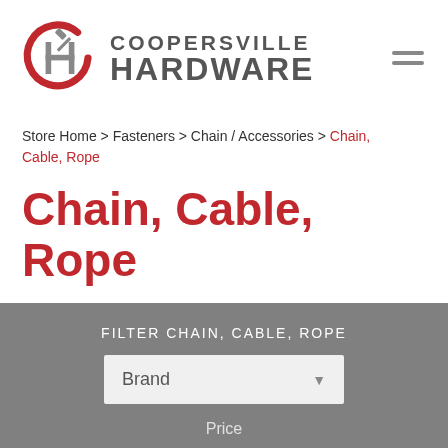[Figure (logo): Coopersville Hardware logo with red C circle, hammer icon, and H letterform in gray]
Store Home > Fasteners > Chain / Accessories > Chain, Cable, Rope
Chain, Cable, Rope
FILTER CHAIN, CABLE, ROPE
Brand
Price